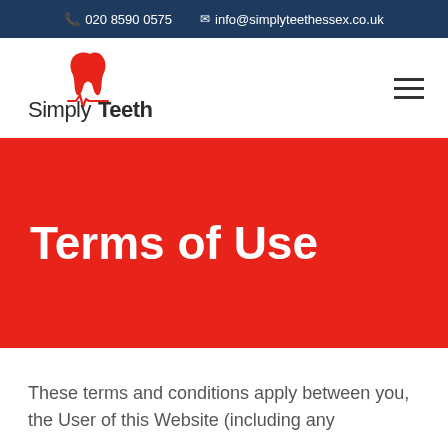020 8590 0575  info@simplyteethessex.co.uk
[Figure (logo): SimplyTeeth logo with red tooth/heart icon above text]
Terms of Use
These terms and conditions apply between you, the User of this Website (including any